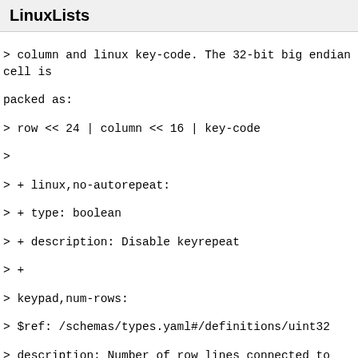LinuxLists
> column and linux key-code. The 32-bit big endian cell is packed as:
> row << 24 | column << 16 | key-code
>
> + linux,no-autorepeat:
> + type: boolean
> + description: Disable keyrepeat
> +
> keypad,num-rows:
> $ref: /schemas/types.yaml#/definitions/uint32
> description: Number of row lines connected to the keypad controller.
> diff --git a/Documentation/devicetree/bindings/media/i2c/adv7604.yaml b/Documentation/devicetree/bindings/media/i2c/adv7604.yaml
> index c19d8391e2d5..7589d377c686 100644